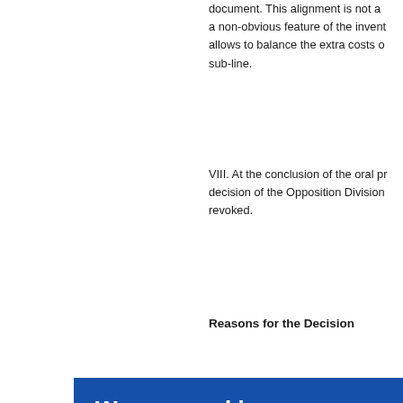document. This alignment is not a non-obvious feature of the invention. It allows to balance the extra costs of the sub-line.
VIII. At the conclusion of the oral proceedings, the decision of the Opposition Division was revoked.
Reasons for the Decision
[Figure (other): Cookie consent overlay dialog on a blue background. Contains title 'We use cookies', body text about cookies usage, a link 'Access full information on cookies that we use and how to manage them', and an OK button.]